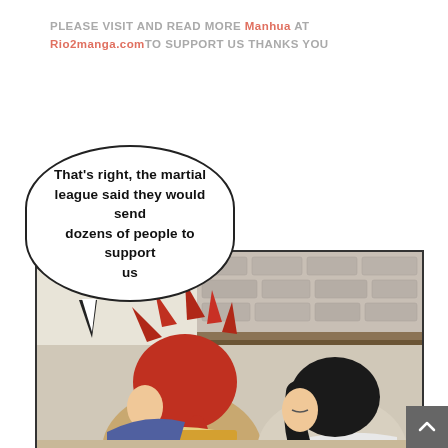PLEASE VISIT AND READ MORE Manhua AT Rio2manga.comTO SUPPORT US THANKS YOU
That's right, the martial league said they would send dozens of people to support us
[Figure (illustration): Manga panel showing two characters from behind: one with spiky red hair and red ponytail wearing colorful clothing on the left, and one with long black hair wearing light clothing on the right. Background shows a stone wall and wooden frame, suggesting an interior scene.]